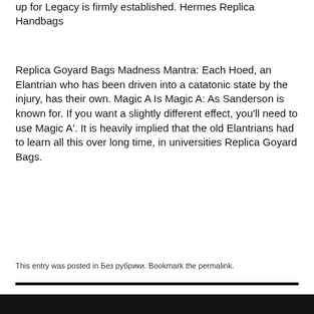up for Legacy is firmly established. Hermes Replica Handbags
Replica Goyard Bags Madness Mantra: Each Hoed, an Elantrian who has been driven into a catatonic state by the injury, has their own. Magic A Is Magic A: As Sanderson is known for. If you want a slightly different effect, you’ll need to use Magic A’. It is heavily implied that the old Elantrians had to learn all this over long time, in universities Replica Goyard Bags.
This entry was posted in Без рубрики. Bookmark the permalink.